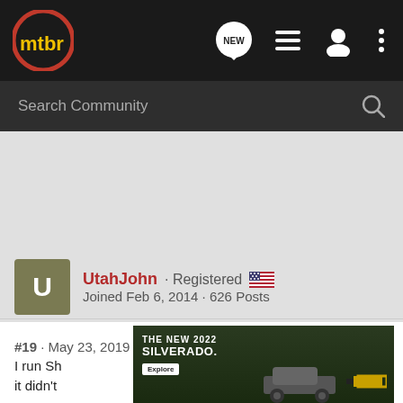[Figure (logo): mtbr logo - yellow text on dark circle with red ring]
Search Community
UtahJohn · Registered
Joined Feb 6, 2014 · 626 Posts
#19 · May 23, 2019
I run Sh it, but it didn't year as
[Figure (photo): Advertisement: THE NEW 2022 SILVERADO. Explore. Chevrolet truck advertisement.]